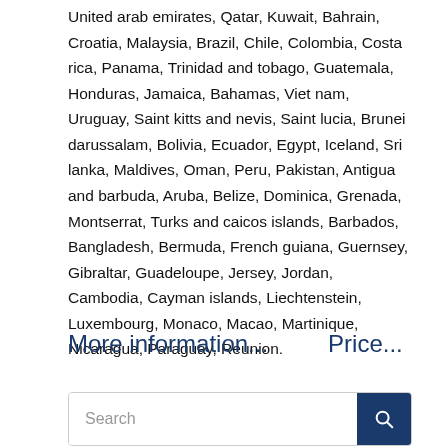United arab emirates, Qatar, Kuwait, Bahrain, Croatia, Malaysia, Brazil, Chile, Colombia, Costa rica, Panama, Trinidad and tobago, Guatemala, Honduras, Jamaica, Bahamas, Viet nam, Uruguay, Saint kitts and nevis, Saint lucia, Brunei darussalam, Bolivia, Ecuador, Egypt, Iceland, Sri lanka, Maldives, Oman, Peru, Pakistan, Antigua and barbuda, Aruba, Belize, Dominica, Grenada, Montserrat, Turks and caicos islands, Barbados, Bangladesh, Bermuda, French guiana, Guernsey, Gibraltar, Guadeloupe, Jersey, Jordan, Cambodia, Cayman islands, Liechtenstein, Luxembourg, Monaco, Macao, Martinique, Nicaragua, Paraguay, Reunion.
More information...   Price...
Search
POPULAR   RECENT